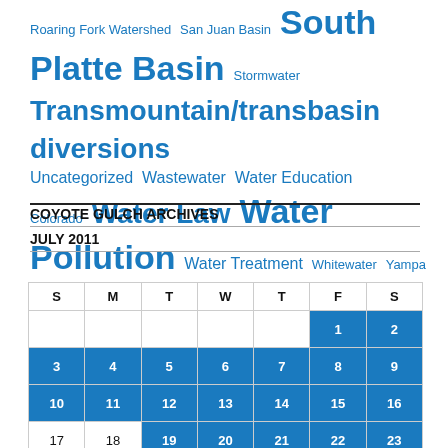Roaring Fork Watershed  San Juan Basin  South Platte Basin  Stormwater  Transmountain/transbasin diversions  Uncategorized  Wastewater  Water Education Colorado  Water Law  Water Pollution  Water Treatment  Whitewater  Yampa River Basin
COYOTE GULCH ARCHIVES
JULY 2011
| S | M | T | W | T | F | S |
| --- | --- | --- | --- | --- | --- | --- |
|  |  |  |  |  | 1 | 2 |
| 3 | 4 | 5 | 6 | 7 | 8 | 9 |
| 10 | 11 | 12 | 13 | 14 | 15 | 16 |
| 17 | 18 | 19 | 20 | 21 | 22 | 23 |
| 24 | 25 | 26 | 27 | 28 | 29 | 30 |